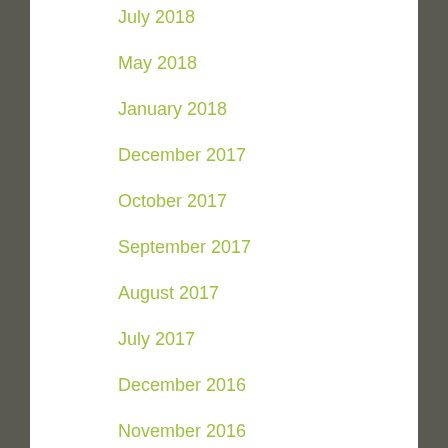July 2018
May 2018
January 2018
December 2017
October 2017
September 2017
August 2017
July 2017
December 2016
November 2016
October 2016
July 2016